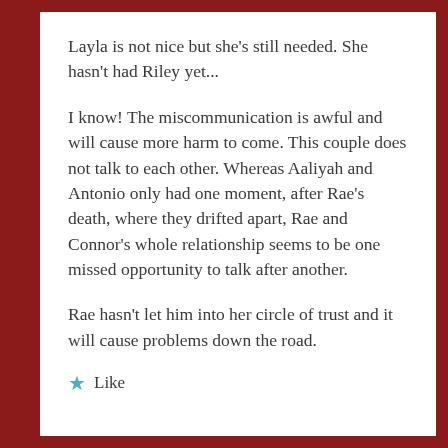Layla is not nice but she's still needed. She hasn't had Riley yet...
I know! The miscommunication is awful and will cause more harm to come. This couple does not talk to each other. Whereas Aaliyah and Antonio only had one moment, after Rae's death, where they drifted apart, Rae and Connor's whole relationship seems to be one missed opportunity to talk after another.
Rae hasn't let him into her circle of trust and it will cause problems down the road.
★ Like